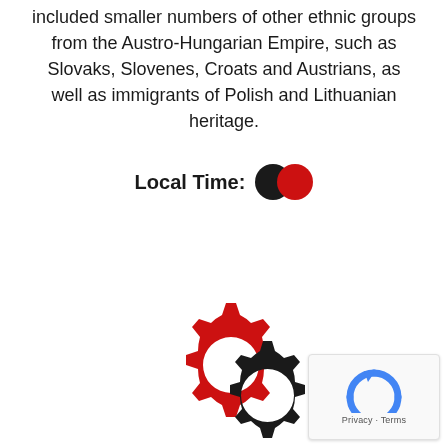included smaller numbers of other ethnic groups from the Austro-Hungarian Empire, such as Slovaks, Slovenes, Croats and Austrians, as well as immigrants of Polish and Lithuanian heritage.
Local Time:
[Figure (other): Two overlapping circles icon: one dark/black circle and one red circle, used as a UI widget (likely a time zone or clock icon)]
[Figure (other): Two interlocking gear icons: a larger red gear on the upper-left and a smaller black gear on the lower-right]
[Figure (other): reCAPTCHA widget showing the Google reCAPTCHA logo with 'Privacy - Terms' text]